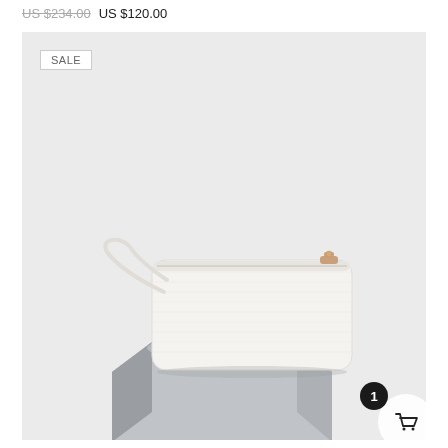US $234.00 US $120.00
[Figure (photo): White croc-embossed leather clutch/wristlet bag with rose gold zipper hardware, displayed on a geometric grey pedestal against a light grey background. A 'SALE' badge appears in the top-left corner of the image.]